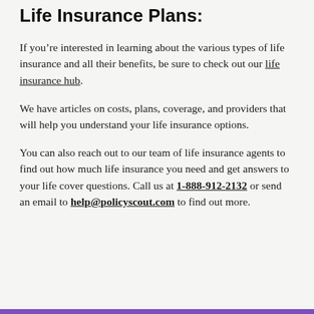Life Insurance Plans:
If you’re interested in learning about the various types of life insurance and all their benefits, be sure to check out our life insurance hub.
We have articles on costs, plans, coverage, and providers that will help you understand your life insurance options.
You can also reach out to our team of life insurance agents to find out how much life insurance you need and get answers to your life cover questions. Call us at 1-888-912-2132 or send an email to help@policyscout.com to find out more.